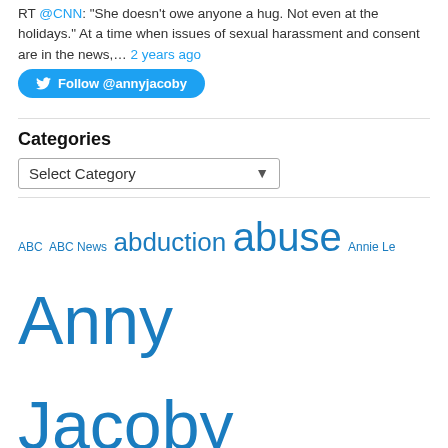RT @CNN: "She doesn't owe anyone a hug. Not even at the holidays." At a time when issues of sexual harassment and consent are in the news,… 2 years ago
[Figure (other): Follow @annyjacoby Twitter button]
Categories
[Figure (other): Select Category dropdown]
ABC ABC News abduction abuse Annie Le Anny Jacoby assault awareness Bethany Corbin Break The Cycle CBS CBS News Child Abduction Child abuse Children Child sexual abuse CNN CNN News College